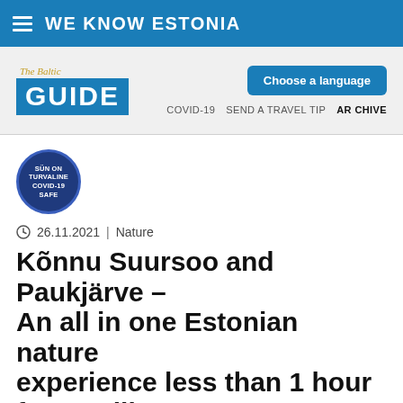WE KNOW ESTONIA
[Figure (logo): The Baltic Guide logo - blue box with GUIDE text and cursive subtitle]
Choose a language
COVID-19  SEND A TRAVEL TIP  ARCHIVE
[Figure (illustration): Round dark blue badge: SÜN ON TURVALINE COVID-19 SAFE]
26.11.2021 | Nature
Kõnnu Suursoo and Paukjärve – An all in one Estonian nature experience less than 1 hour from Tallinn